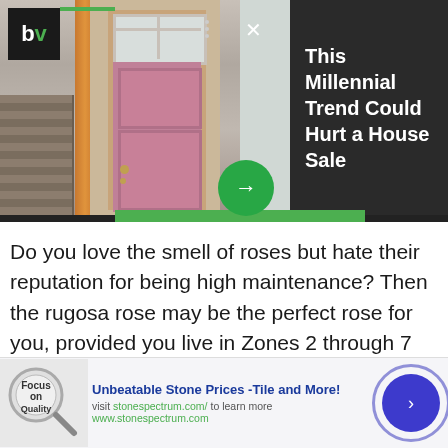[Figure (screenshot): Advertisement banner showing a pink door on a house with a dark panel on the right reading 'This Millennial Trend Could Hurt a House Sale'. Includes BV logo, close button, navigation dots, green arrow button, and green bottom bar.]
Do you love the smell of roses but hate their reputation for being high maintenance? Then the rugosa rose may be the perfect rose for you, provided you live in Zones 2 through 7 and away from coastal regions where the plant has been deemed invasive.
[Figure (infographic): Bottom advertisement banner for Stone Spectrum with Focus on Quality magnifier logo, title 'Unbeatable Stone Prices -Tile and More!', subtitle 'visit stonespectrum.com/ to learn more', website 'www.stonespectrum.com', and a blue circular arrow button.]